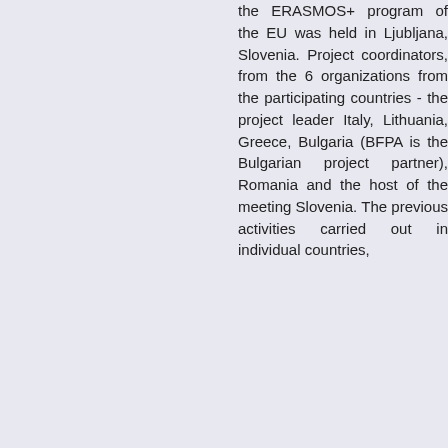the ERASMOS+ program of the EU was held in Ljubljana, Slovenia. Project coordinators, from the 6 organizations from the participating countries - the project leader Italy, Lithuania, Greece, Bulgaria (BFPA is the Bulgarian project partner), Romania and the host of the meeting Slovenia. The previous activities carried out in individual countries,